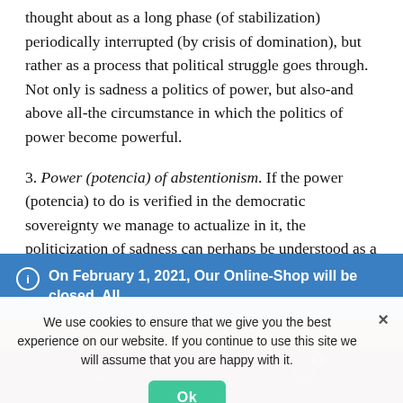thought about as a long phase (of stabilization) periodically interrupted (by crisis of domination), but rather as a process that political struggle goes through. Not only is sadness a politics of power, but also-and above all-the circumstance in which the politics of power become powerful.
3. Power (potencia) of abstentionism. If the power (potencia) to do is verified in the democratic sovereignty we manage to actualize in it, the politicization of sadness can perhaps be understood as a form of wisdom in which
On February 1, 2021, Our Online-Shop will be closed. All orders until January 31 will be delivered
Dismiss
We use cookies to ensure that we give you the best experience on our website. If you continue to use this site we will assume that you are happy with it.